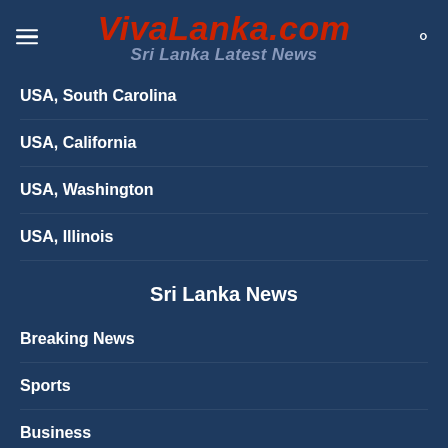VivaLanka.com Sri Lanka Latest News
USA, South Carolina
USA, California
USA, Washington
USA, Illinois
Sri Lanka News
Breaking News
Sports
Business
Video